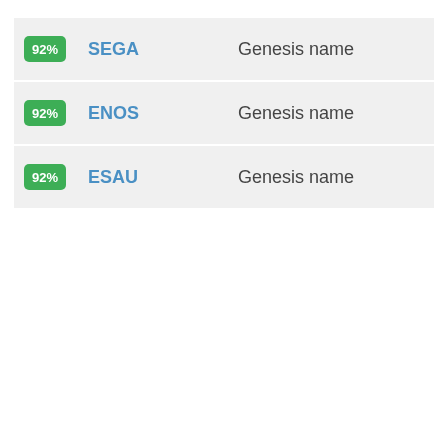92% SEGA Genesis name
92% ENOS Genesis name
92% ESAU Genesis name